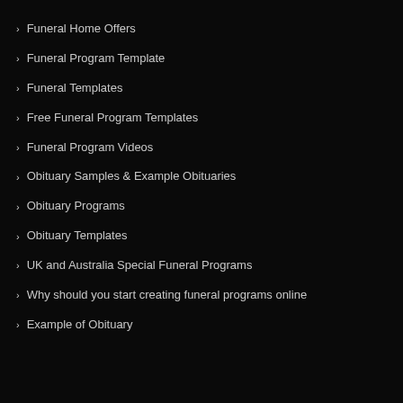Funeral Home Offers
Funeral Program Template
Funeral Templates
Free Funeral Program Templates
Funeral Program Videos
Obituary Samples & Example Obituaries
Obituary Programs
Obituary Templates
UK and Australia Special Funeral Programs
Why should you start creating funeral programs online
Example of Obituary